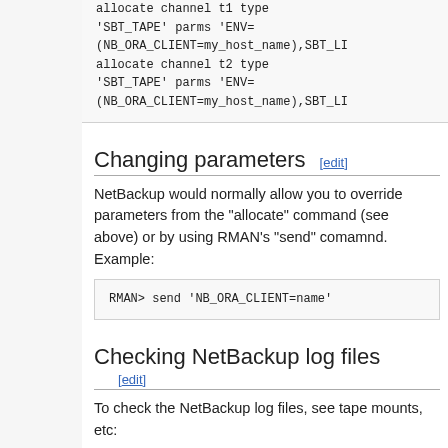[Figure (screenshot): Code block showing allocate channel t1 and t2 commands with SBT_TAPE and ENV=(NB_ORA_CLIENT=my_host_name),SBT_LI... parameters]
Changing parameters [edit]
NetBackup would normally allow you to override parameters from the "allocate" command (see above) or by using RMAN's "send" comamnd. Example:
[Figure (screenshot): Code block: RMAN> send 'NB_ORA_CLIENT=name']
Checking NetBackup log files [edit]
To check the NetBackup log files, see tape mounts, etc:
[Figure (screenshot): Code block: $ cd /usr/openv/netbackup/logs/user_ops/...]